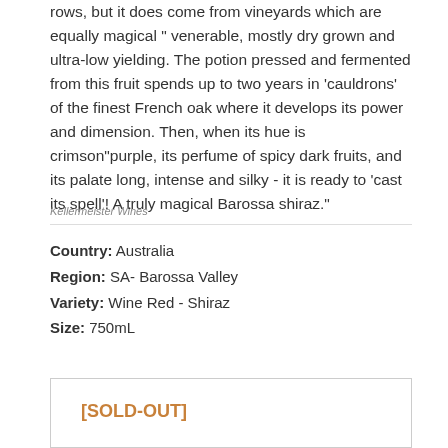rows, but it does come from vineyards which are equally magical " venerable, mostly dry grown and ultra-low yielding. The potion pressed and fermented from this fruit spends up to two years in 'cauldrons' of the finest French oak where it develops its power and dimension. Then, when its hue is crimson"purple, its perfume of spicy dark fruits, and its palate long, intense and silky - it is ready to 'cast its spell'! A truly magical Barossa shiraz."
Kellermeister Wines
Country: Australia
Region: SA- Barossa Valley
Variety: Wine Red - Shiraz
Size: 750mL
[SOLD-OUT]
$63.50